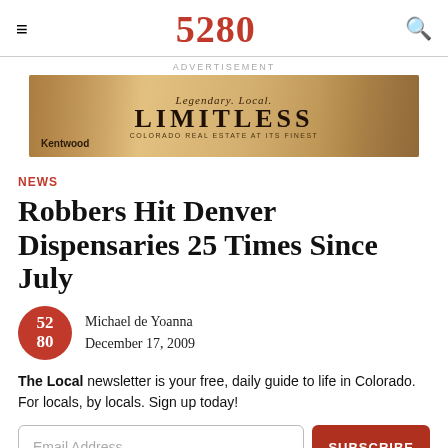5280
[Figure (illustration): Kentwood real estate advertisement banner: 'Legendary. Local. LIMITLESS. COLORADO REAL ESTATE AT ITS FINEST']
NEWS
Robbers Hit Denver Dispensaries 25 Times Since July
Michael de Yoanna
December 17, 2009
The Local newsletter is your free, daily guide to life in Colorado. For locals, by locals. Sign up today!